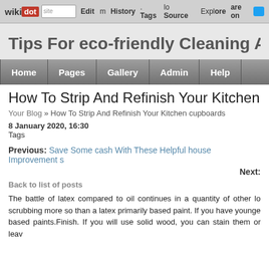wikidot | Edit | History | Tags | Source | Explore | Share on Twitter
Tips For eco-friendly Cleaning At
Home | Pages | Gallery | Admin | Help
How To Strip And Refinish Your Kitchen c
Your Blog » How To Strip And Refinish Your Kitchen cupboards
8 January 2020, 16:30
Tags
Previous: Save Some cash With These Helpful house Improvement s
Next:
Back to list of posts
The battle of latex compared to oil continues in a quantity of other lo scrubbing more so than a latex primarily based paint. If you have younge based paints.Finish. If you will use solid wood, you can stain them or leav